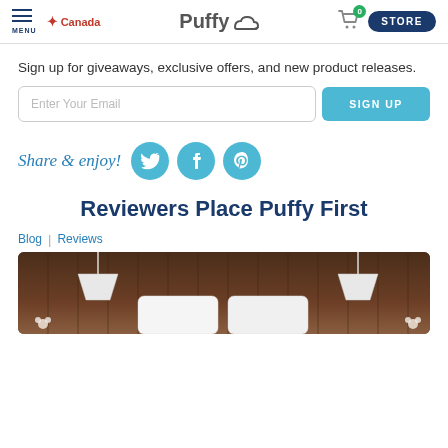MENU | Canada | Puffy | 0 | STORE
Sign up for giveaways, exclusive offers, and new product releases.
Enter Your Email
SIGN UP
Share & enjoy!
Reviewers Place Puffy First
Blog | Reviews
[Figure (photo): Bedroom scene with white pillows and pendant lamps against a dark wood paneled wall]